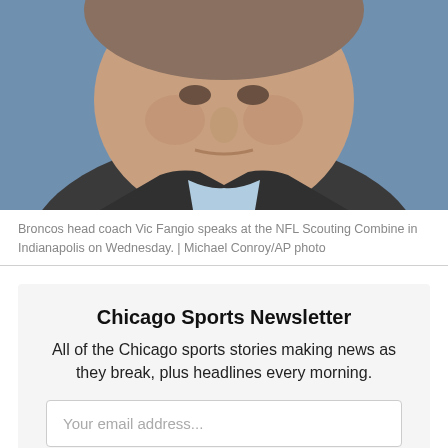[Figure (photo): Close-up photo of Broncos head coach Vic Fangio speaking at the NFL Scouting Combine in Indianapolis, wearing a dark jacket over a light blue shirt, blue blurred background.]
Broncos head coach Vic Fangio speaks at the NFL Scouting Combine in Indianapolis on Wednesday. | Michael Conroy/AP photo
Chicago Sports Newsletter
All of the Chicago sports stories making news as they break, plus headlines every morning.